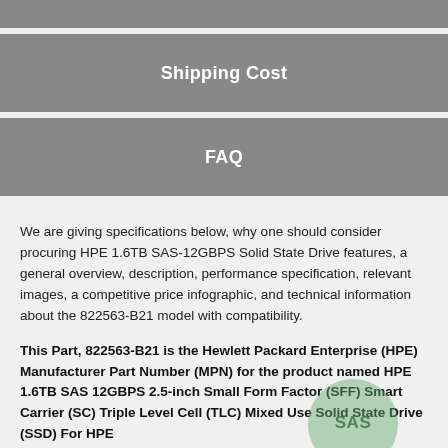Shipping Cost
FAQ
We are giving specifications below, why one should consider procuring HPE 1.6TB SAS-12GBPS Solid State Drive features, a general overview, description, performance specification, relevant images, a competitive price infographic, and technical information about the 822563-B21 model with compatibility.
This Part, 822563-B21 is the Hewlett Packard Enterprise (HPE) Manufacturer Part Number (MPN) for the product named HPE 1.6TB SAS 12GBPS 2.5-inch Small Form Factor (SFF) Smart Carrier (SC) Triple Level Cell (TLC) Mixed Use Solid State Drive (SSD) For HPE